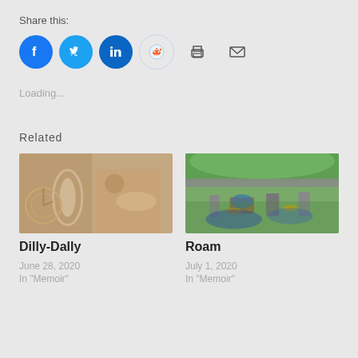Share this:
[Figure (infographic): Social share icons: Facebook (blue circle), Twitter (blue circle), LinkedIn (dark blue circle), Reddit (light blue outlined circle), Print (printer icon), Email (envelope icon)]
Loading...
Related
[Figure (photo): Photo of antique clocks and an hourglass with golden/sepia tones]
Dilly-Dally
June 28, 2020
In "Memoir"
[Figure (photo): Photo of a person sitting on a blanket next to bicycles loaded with yellow and colorful gear, outdoors with green trees in background]
Roam
July 1, 2020
In "Memoir"